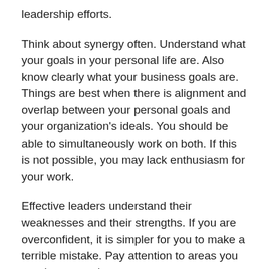leadership efforts.
Think about synergy often. Understand what your goals in your personal life are. Also know clearly what your business goals are. Things are best when there is alignment and overlap between your personal goals and your organization's ideals. You should be able to simultaneously work on both. If this is not possible, you may lack enthusiasm for your work.
Effective leaders understand their weaknesses and their strengths. If you are overconfident, it is simpler for you to make a terrible mistake. Pay attention to areas you need to strengthen.
Don't lose your moral compass. Any decision that you make must be something that you feel good about. If you anticipate feeling badly about a potential choice,